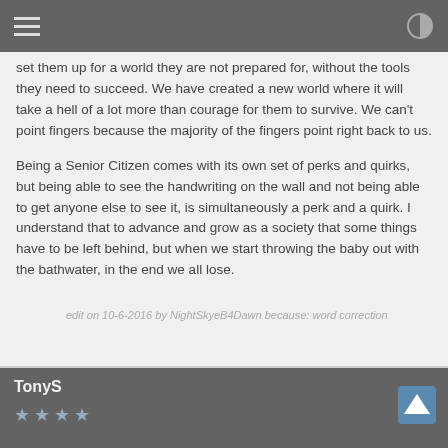set them up for a world they are not prepared for, without the tools they need to succeed. We have created a new world where it will take a hell of a lot more than courage for them to survive. We can't point fingers because the majority of the fingers point right back to us.
Being a Senior Citizen comes with its own set of perks and quirks, but being able to see the handwriting on the wall and not being able to get anyone else to see it, is simultaneously a perk and a quirk. I understand that to advance and grow as a society that some things have to be left behind, but when we start throwing the baby out with the bathwater, in the end we all lose.
edit on 10-6-2016 by NightSkyeB4Dawn because: word correction
TonyS